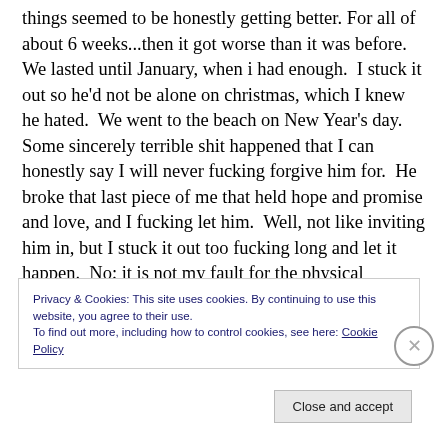things seemed to be honestly getting better. For all of about 6 weeks...then it got worse than it was before.  We lasted until January, when i had enough.  I stuck it out so he'd not be alone on christmas, which I knew he hated.  We went to the beach on New Year's day.  Some sincerely terrible shit happened that I can honestly say I will never fucking forgive him for.  He broke that last piece of me that held hope and promise and love, and I fucking let him.  Well, not like inviting him in, but I stuck it out too fucking long and let it happen.  No; it is not my fault for the physical assault.  He took the action and that is something
Privacy & Cookies: This site uses cookies. By continuing to use this website, you agree to their use.
To find out more, including how to control cookies, see here: Cookie Policy
Close and accept